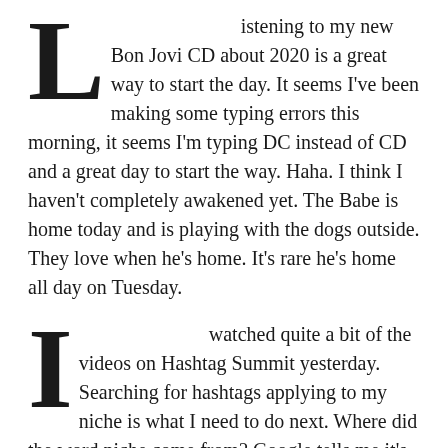Listening to my new Bon Jovi CD about 2020 is a great way to start the day. It seems I've been making some typing errors this morning, it seems I'm typing DC instead of CD and a great day to start the way. Haha. I think I haven't completely awakened yet. The Babe is home today and is playing with the dogs outside. They love when he's home. It's rare he's home all day on Tuesday.
I watched quite a bit of the videos on Hashtag Summit yesterday. Searching for hashtags applying to my niche is what I need to do next. Where did the word niche come from? Google tells me it's a one-stop shop for college searchers. I'm guessing that's not it. I suppose a place, employment, status or activity a person is most suited for is the definition I'll